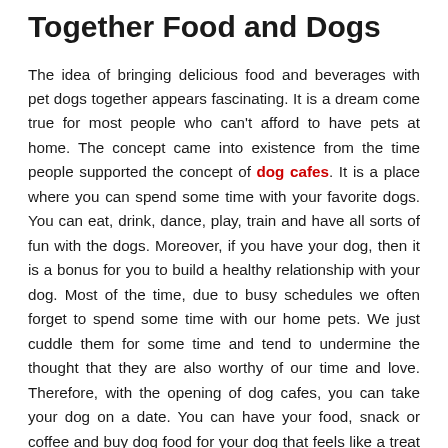Together Food and Dogs
The idea of bringing delicious food and beverages with pet dogs together appears fascinating. It is a dream come true for most people who can't afford to have pets at home. The concept came into existence from the time people supported the concept of dog cafes. It is a place where you can spend some time with your favorite dogs. You can eat, drink, dance, play, train and have all sorts of fun with the dogs. Moreover, if you have your dog, then it is a bonus for you to build a healthy relationship with your dog. Most of the time, due to busy schedules we often forget to spend some time with our home pets. We just cuddle them for some time and tend to undermine the thought that they are also worthy of our time and love. Therefore, with the opening of dog cafes, you can take your dog on a date. You can have your food, snack or coffee and buy dog food for your dog that feels like a treat for